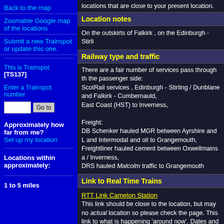locations that are close to your present location.
Location notes
On the outskirts of Falkirk , on the Edinburgh - Stirli
Railway type and traffic
There are a fair number of services pass through th the passenger side:
ScotRail services , Edinburgh - Stirling / Dunblane and Falkirk - Cumbernauld,
East Coast (HST) to Inverness,

Freight:
DB Schenker hauled MGR between Ayrshire and L and Intermodal and oil to Grangemouth,
Freightliner hauled cement between Oxwellmains a / Inverness,
DRS hauled Malcolm traffic to Grangemouth
Link to Real Time Trains
RTT Link Camelon Station
This link should be close to the location, but may not be the actual location so please check the page. This link to what is happening 'around now'. Dates and times changed at the top of the page.
Environment
Back to the map
Zoomable Google map of the locations
Submit a new Trainspot or update this one.
This is Trainspot [TS137]
Enter a Trainspot number
Approximately how far from me?
Set up my location
Locations within approximately:
1 to 5 miles